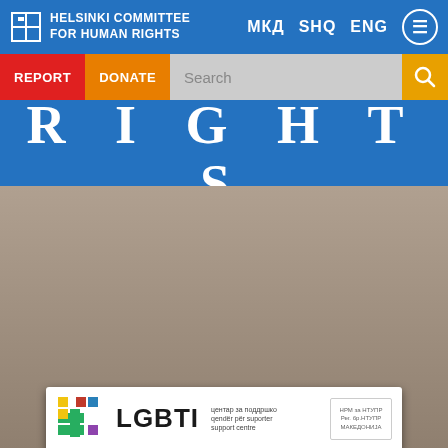Helsinki Committee for Human Rights — navigation bar with МКД SHQ ENG language links
[Figure (screenshot): Website navigation with REPORT button (red), DONATE button (orange), and Search input field with magnifying glass icon]
[Figure (screenshot): Human Rights Watch logo banner — large white text spelling RIGHTS on first line and WATCH on second line, on a blue background]
JULY 11, 2013
Human Rights Watch: Letter to the Prime Minister of Macedonia
[Figure (photo): Storefront sign reading LGBTI with subtitle text in multiple languages including 'support centre', with a colorful logo made of geometric shapes in red, yellow, green, and blue]